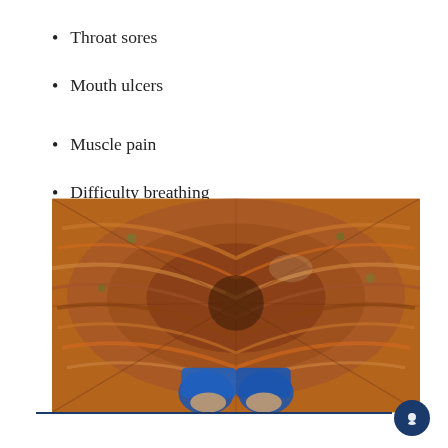Throat sores
Mouth ulcers
Muscle pain
Difficulty breathing
[Figure (photo): Blurred spinning photograph showing a person in a blue jacket looking down at autumn leaves on the ground, with a radial spin blur effect creating a dizzying visual, illustrating difficulty breathing or dizziness symptom.]